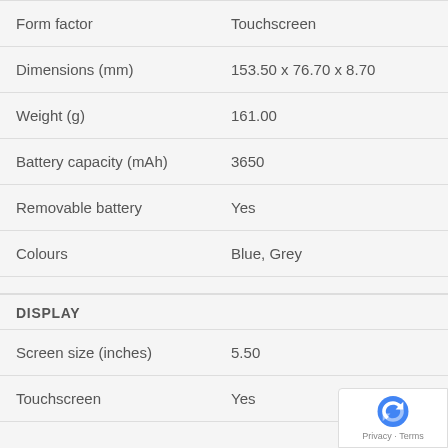| Property | Value |
| --- | --- |
| Form factor | Touchscreen |
| Dimensions (mm) | 153.50 x 76.70 x 8.70 |
| Weight (g) | 161.00 |
| Battery capacity (mAh) | 3650 |
| Removable battery | Yes |
| Colours | Blue, Grey |
DISPLAY
| Property | Value |
| --- | --- |
| Screen size (inches) | 5.50 |
| Touchscreen | Yes |